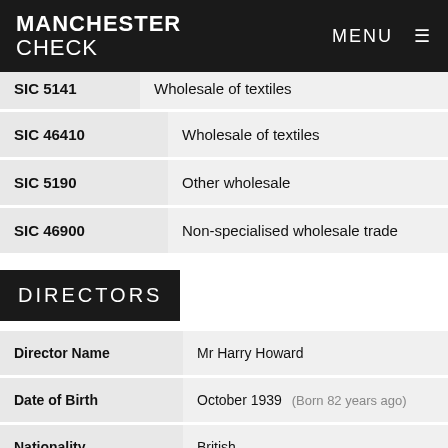MANCHESTER CHECK  MENU
| SIC Code | Description |
| --- | --- |
| SIC 5141 | Wholesale of textiles |
| SIC 46410 | Wholesale of textiles |
| SIC 5190 | Other wholesale |
| SIC 46900 | Non-specialised wholesale trade |
DIRECTORS
| Field | Value |
| --- | --- |
| Director Name | Mr Harry Howard |
| Date of Birth | October 1939  (Born 82 years ago) |
| Nationality | British |